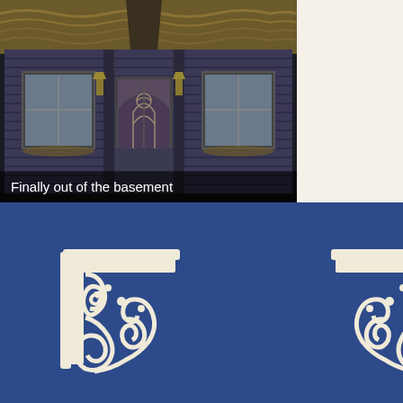[Figure (photo): A weathered, aged dollhouse or miniature house facade with dark blue/gray painted wooden siding, two windows, a central ornate Gothic-style door with arched stained glass, wall-mounted lanterns, and visible deterioration. The structure appears to be sitting on a table or floor in a workshop/studio setting.]
Finally out of the basement
[Figure (photo): Two decorative wooden scroll bracket/corbel pieces with ornate filigree cutout patterns, cream/off-white colored, displayed against a dark navy blue background. The brackets appear to be Victorian-style gingerbread trim pieces, shown as a mirrored pair (one on left, one on right).]